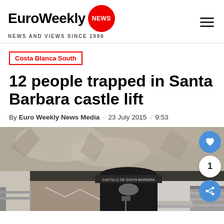EuroWeekly NEWS · NEWS AND VIEWS SINCE 1998
Costa Blanca South
12 people trapped in Santa Barbara castle lift
By Euro Weekly News Media · 23 July 2015 · 9:53
[Figure (photo): Entrance to Castillo de Santa Barbara, showing the tunnel entrance set into rock, with modern architecture and railings in the foreground.]